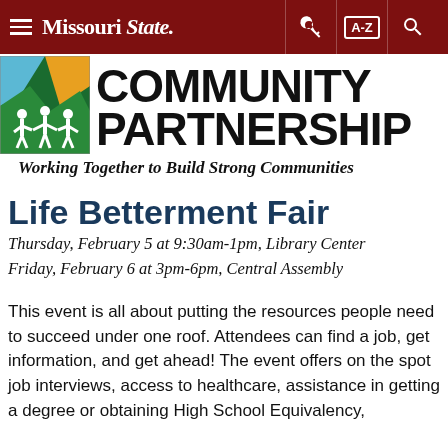Missouri State navigation bar
[Figure (logo): Community Partnership logo with figures holding hands and colorful background, alongside large bold text 'COMMUNITY PARTNERSHIP']
Working Together to Build Strong Communities
Life Betterment Fair
Thursday, February 5 at 9:30am-1pm, Library Center
Friday, February 6 at 3pm-6pm, Central Assembly
This event is all about putting the resources people need to succeed under one roof. Attendees can find a job, get information, and get ahead! The event offers on the spot job interviews, access to healthcare, assistance in getting a degree or obtaining High School Equivalency,